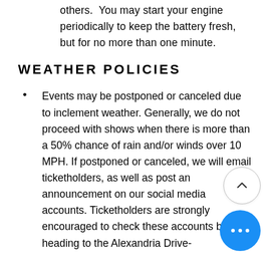others.  You may start your engine periodically to keep the battery fresh, but for no more than one minute.
WEATHER POLICIES
Events may be postponed or canceled due to inclement weather. Generally, we do not proceed with shows when there is more than a 50% chance of rain and/or winds over 10 MPH. If postponed or canceled, we will email ticketholders, as well as post an announcement on our social media accounts. Ticketholders are strongly encouraged to check these accounts before heading to the Alexandria Drive-